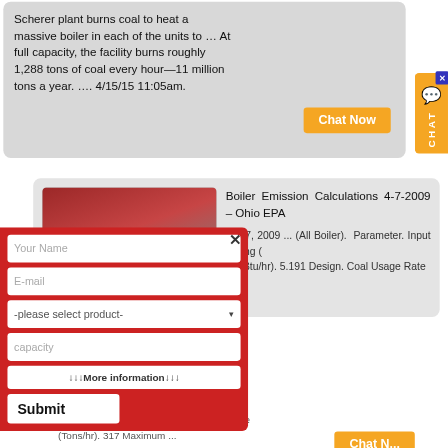Scherer plant burns coal to heat a massive boiler in each of the units to … At full capacity, the facility burns roughly 1,288 tons of coal every hour—11 million tons a year. …. 4/15/15 11:05am.
[Figure (screenshot): Orange 'Chat Now' button in gray chat bubble]
[Figure (screenshot): Orange CHAT side tab with blue X button and speech bubble icon]
[Figure (screenshot): Search result card: Boiler Emission Calculations 4-7-2009 Ohio EPA with thumbnail image and red form overlay containing Your Name, E-mail, product dropdown, capacity, More information, and Submit fields]
Boiler Emission Calculations 4-7-2009 – Ohio EPA
Apr 7, 2009 ... (All Boiler). Parameter. Input Rating (MMBtu/hr). 5.191 Design. Coal Usage Rate (Tons/hr). 317 Maximum ...